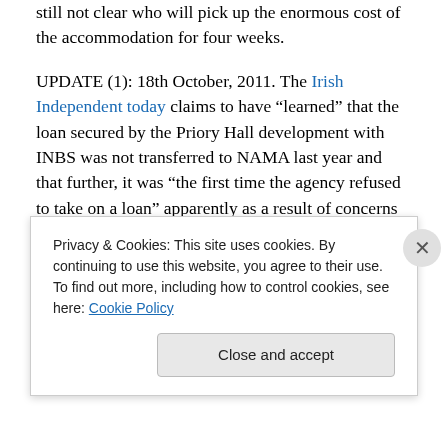still not clear who will pick up the enormous cost of the accommodation for four weeks.
UPDATE (1): 18th October, 2011. The Irish Independent today claims to have “learned” that the loan secured by the Priory Hall development with INBS was not transferred to NAMA last year and that further, it was “the first time the agency refused to take on a loan” apparently as a result of concerns over the build-quality of the property. The Independent also sheds some light on who will pay for the emergency accommodation – in the first instance it will apparently be the developers, Tom McFeely (or Thomas
Privacy & Cookies: This site uses cookies. By continuing to use this website, you agree to their use.
To find out more, including how to control cookies, see here: Cookie Policy